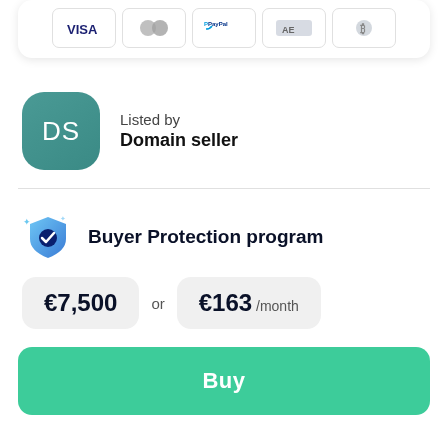[Figure (other): Payment method icons: Visa, Mastercard, PayPal, American Express, Bitcoin in bordered rounded rectangles]
[Figure (other): Teal rounded square avatar with white letters DS representing Domain Seller]
Listed by
Domain seller
[Figure (other): Buyer Protection program shield icon with checkmark and sparkles]
Buyer Protection program
€7,500 or €163 /month
Buy